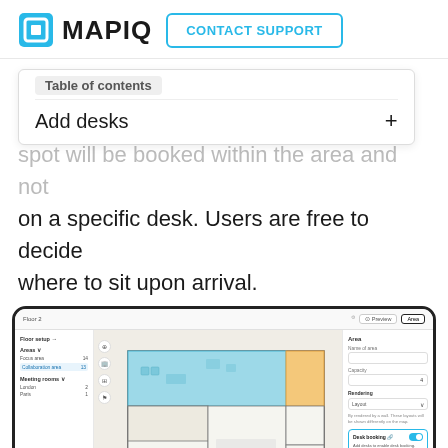MAPIQ | CONTACT SUPPORT
Table of contents
Add desks +
spot will be booked within the area and not on a specific desk. Users are free to decide where to sit upon arrival.
[Figure (screenshot): Mapiq floor plan editor screenshot showing Floor 2 with areas panel on left, floor map in center with teal/blue highlighted collaborative area and orange area, and right panel showing Area settings with Desk Booking toggle enabled (cyan highlight box).]